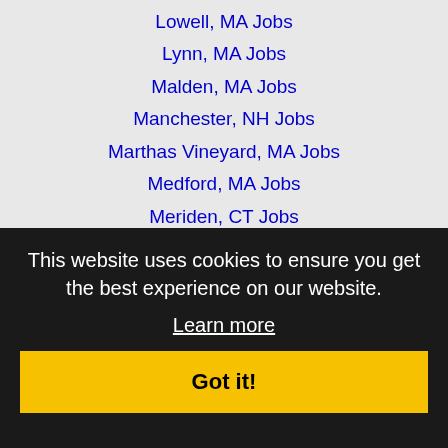Lowell, MA Jobs
Lynn, MA Jobs
Malden, MA Jobs
Manchester, NH Jobs
Marthas Vineyard, MA Jobs
Medford, MA Jobs
Meriden, CT Jobs
Methuen, MA Jobs
Middletown, CT Jobs
Milford, CT Jobs
Nantucket, MA Jobs
New Britain, MA Jobs
New Canaan, CT Jobs
New Haven, CT Jobs
Northampton, MA Jobs
North Attleborough, MA Jobs
Pawtucket, RI Jobs
This website uses cookies to ensure you get the best experience on our website. Learn more
Got it!